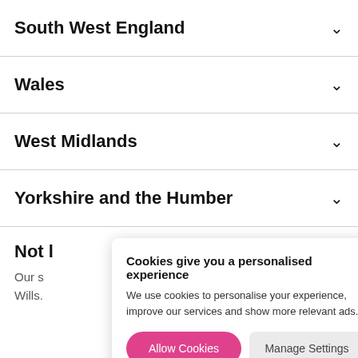South West England
Wales
West Midlands
Yorkshire and the Humber
Not l
Our s
Wills.
Cookies give you a personalised experience
We use cookies to personalise your experience, improve our services and show more relevant ads.
Allow Cookies
Manage Settings